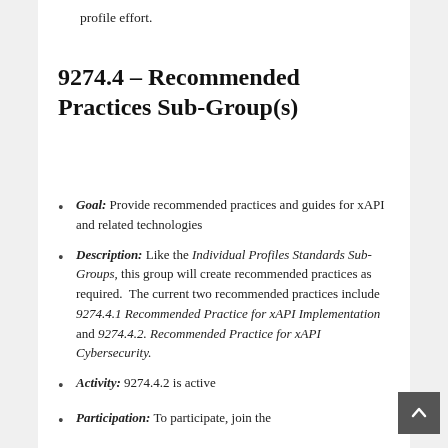profile effort.
9274.4 – Recommended Practices Sub-Group(s)
Goal: Provide recommended practices and guides for xAPI and related technologies
Description: Like the Individual Profiles Standards Sub-Groups, this group will create recommended practices as required.  The current two recommended practices include 9274.4.1 Recommended Practice for xAPI Implementation and 9274.4.2. Recommended Practice for xAPI Cybersecurity.
Activity: 9274.4.2 is active
Participation: To participate, join the